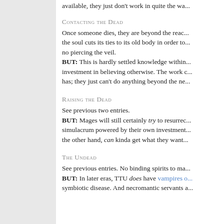available, they just don't work in quite the wa...
Contacting the Dead
Once someone dies, they are beyond the reach of... the soul cuts its ties to its old body in order to... no piercing the veil.
BUT: This is hardly settled knowledge within... investment in believing otherwise. The work c... has; they just can't do anything beyond the ne...
Raising the Dead
See previous two entries.
BUT: Mages will still certainly try to resurrec... simulacrum powered by their own investment... the other hand, can kinda get what they want.
The Undead
See previous entries. No binding spirits to ma...
BUT: In later eras, TTU does have vampires o... symbiotic disease. And necromantic servants a...